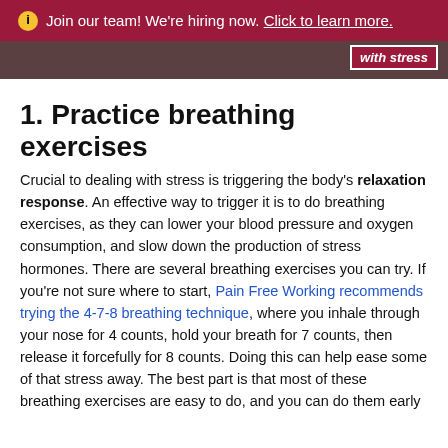ℹ Join our team! We're hiring now. Click to learn more.
[Figure (photo): Partial image strip showing a dark background with text overlay reading 'with stress' in italic bold on a dark red/maroon background]
1. Practice breathing exercises
Crucial to dealing with stress is triggering the body's relaxation response. An effective way to trigger it is to do breathing exercises, as they can lower your blood pressure and oxygen consumption, and slow down the production of stress hormones. There are several breathing exercises you can try. If you're not sure where to start, Pain Free Working recommends trying the 4-7-8 breathing technique, where you inhale through your nose for 4 counts, hold your breath for 7 counts, then release it forcefully for 8 counts. Doing this can help ease some of that stress away. The best part is that most of these breathing exercises are easy to do, and you can do them early